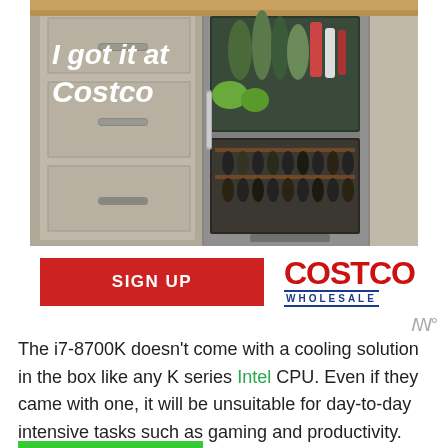[Figure (photo): Advertisement photo showing a kitchen with grey cabinets and a built-in refrigerator/wine cooler with glass door containing bottles and produce. Text overlay reads 'I got it at Costco'.]
[Figure (logo): Costco Wholesale logo in red with blue underline stripe and 'WHOLESALE' text, alongside a red SIGN UP button]
The i7-8700K doesn't come with a cooling solution in the box like any K series Intel CPU. Even if they came with one, it will be unsuitable for day-to-day intensive tasks such as gaming and productivity. This is why you need to buy your own cooling solution should you wish to purchase an i7-8700k. Without further ado, let's start with our recommendations for the CPU